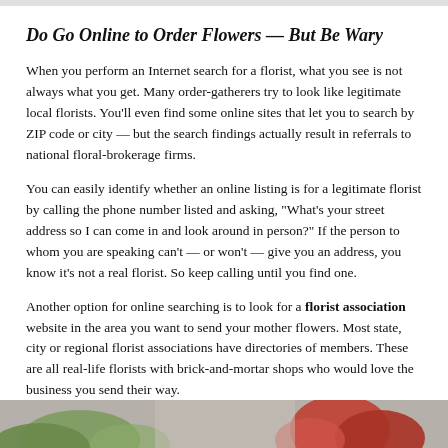Do Go Online to Order Flowers — But Be Wary
When you perform an Internet search for a florist, what you see is not always what you get. Many order-gatherers try to look like legitimate local florists. You'll even find some online sites that let you to search by ZIP code or city — but the search findings actually result in referrals to national floral-brokerage firms.
You can easily identify whether an online listing is for a legitimate florist by calling the phone number listed and asking, "What's your street address so I can come in and look around in person?" If the person to whom you are speaking can't — or won't — give you an address, you know it's not a real florist. So keep calling until you find one.
Another option for online searching is to look for a florist association website in the area you want to send your mother flowers. Most state, city or regional florist associations have directories of members. These are all real-life florists with brick-and-mortar shops who would love the business you send their way.
A website that helps direct consumers away from order-gatherers, Fl... other options for finding a local florist online.
[Figure (photo): Bottom portion of the page showing a partial image of flowers (roses and greenery) in a banner strip at the bottom of the page.]